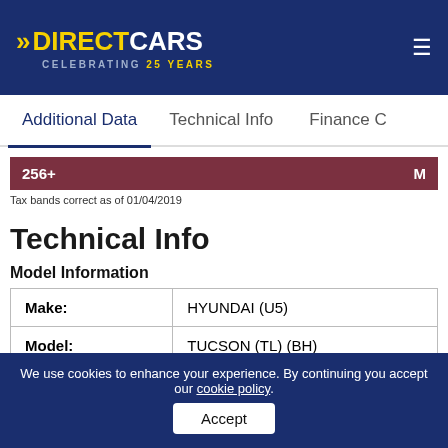DIRECT CARS — CELEBRATING 25 YEARS
Additional Data  Technical Info  Finance C
256+  M
Tax bands correct as of 01/04/2019
Technical Info
Model Information
| Make: | HYUNDAI (U5) |
| Model: | TUCSON (TL) (BH) |
| Derivative: | T-GDI GO SE |
| Engine Size: | 1.6 (1591 cc) |
We use cookies to enhance your experience. By continuing you accept our cookie policy.